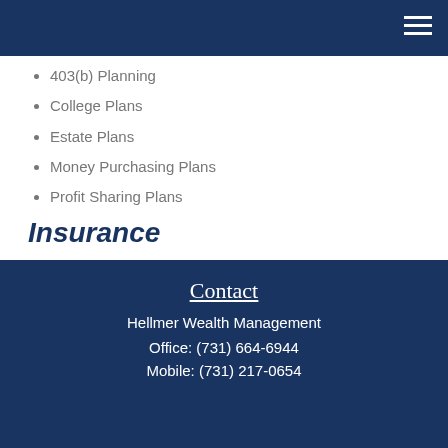403(b) Planning
College Plans
Estate Plans
Money Purchasing Plans
Profit Sharing Plans
Insurance
Disability Income Insurance
Life Insurance
Long-Term-Care Insurance
Contact
Hellmer Wealth Management
Office: (731) 664-6944
Mobile: (731) 217-0654